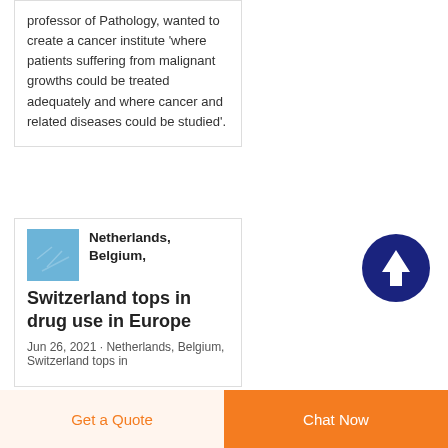professor of Pathology, wanted to create a cancer institute 'where patients suffering from malignant growths could be treated adequately and where cancer and related diseases could be studied'.
Netherlands, Belgium, Switzerland tops in drug use in Europe
Jun 26, 2021 · Netherlands, Belgium, Switzerland tops in
Get a Quote
Chat Now